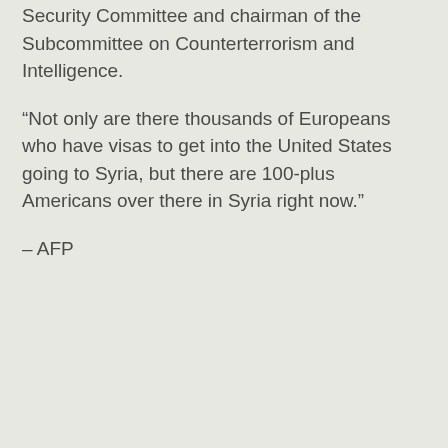Security Committee and chairman of the Subcommittee on Counterterrorism and Intelligence.
“Not only are there thousands of Europeans who have visas to get into the United States going to Syria, but there are 100-plus Americans over there in Syria right now.”
– AFP